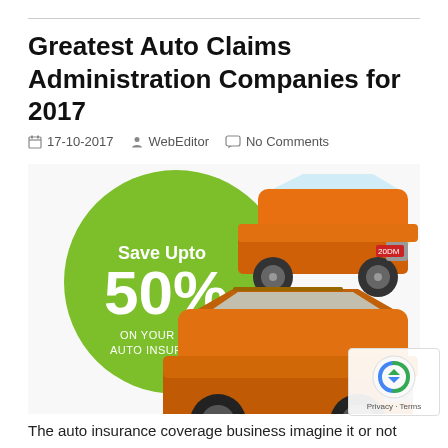Greatest Auto Claims Administration Companies for 2017
17-10-2017   WebEditor   No Comments
[Figure (illustration): Auto insurance advertisement image showing two orange SUVs with a green circle overlay reading 'Save Upto 50% On Your Auto Insurance']
The auto insurance coverage business imagine it or not